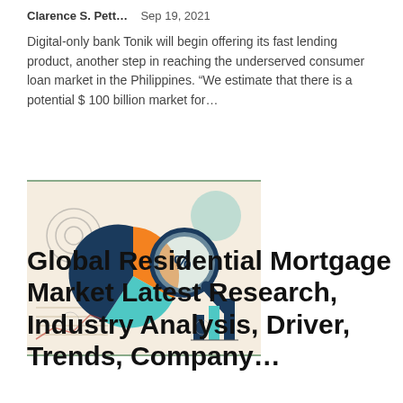Clarence S. Pett…    Sep 19, 2021
Digital-only bank Tonik will begin offering its fast lending product, another step in reaching the underserved consumer loan market in the Philippines. “We estimate that there is a potential $ 100 billion market for…
[Figure (illustration): Infographic showing a pie chart with orange, teal, and dark blue segments, a magnifying glass, bar chart, and financial analysis icons on a light beige background.]
Global Residential Mortgage Market Latest Research, Industry Analysis, Driver, Trends, Company…